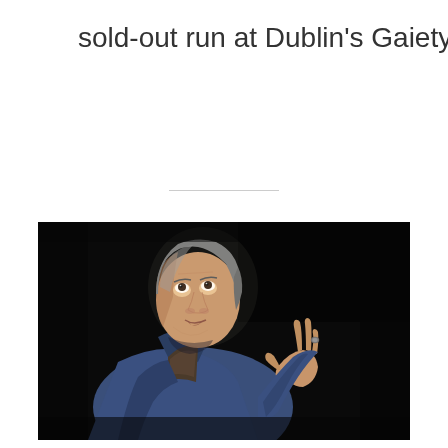sold-out run at Dublin's Gaiety Theatre earlier this year.
[Figure (photo): A man in a blue jacket with grey hair looks upward with his right hand raised, fingers partially extended, wearing a ring. The background is black. Stage lighting illuminates his face and torso.]